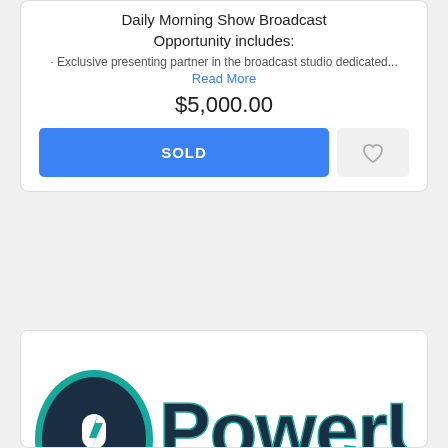Daily Morning Show Broadcast Opportunity includes:
Read More
$5,000.00
SOLD
[Figure (logo): PowerUp Central Media Zone logo with microphone and lightning bolt icon in teal and dark navy, produced by Suncast Media]
PRODUCED BY SUNCAST media